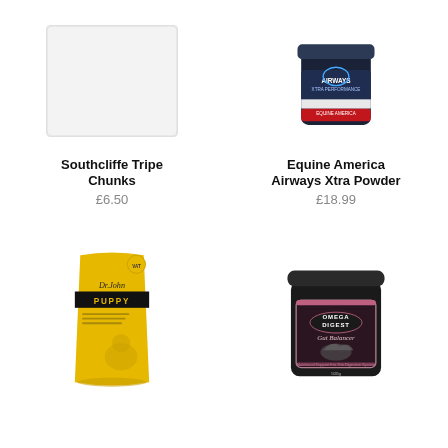[Figure (photo): Southcliffe Tripe Chunks product – light gray/white rectangular bag or package on white background]
Southcliffe Tripe Chunks
£6.50
[Figure (photo): Equine America Airways Xtra Powder – dark cylindrical tub with blue/black label showing horse anatomy, red and white accents]
Equine America Airways Xtra Powder
£18.99
[Figure (photo): Dr John Puppy dog food – yellow/gold bag with black band, Dr John cursive logo, puppy illustration]
[Figure (photo): Omega Digest Gut Balancer – large black tub with dark label showing horse silhouette, pink accents]